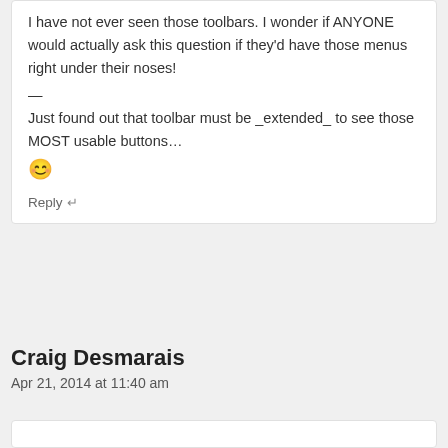I have not ever seen those toolbars. I wonder if ANYONE would actually ask this question if they'd have those menus right under their noses!
—
Just found out that toolbar must be _extended_ to see those MOST usable buttons… 😊
Reply ↵
Craig Desmarais
Apr 21, 2014 at 11:40 am